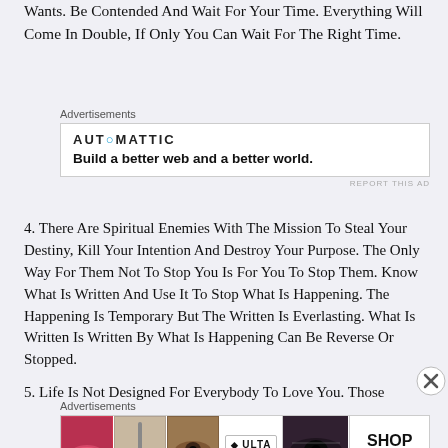Wants. Be Contended And Wait For Your Time. Everything Will Come In Double, If Only You Can Wait For The Right Time.
[Figure (other): Automattic advertisement: logo and tagline 'Build a better web and a better world.']
4. There Are Spiritual Enemies With The Mission To Steal Your Destiny, Kill Your Intention And Destroy Your Purpose. The Only Way For Them Not To Stop You Is For You To Stop Them. Know What Is Written And Use It To Stop What Is Happening. The Happening Is Temporary But The Written Is Everlasting. What Is Written Is Written By What Is Happening Can Be Reverse Or Stopped.
5. Life Is Not Designed For Everybody To Love You. Those
[Figure (other): Ulta Beauty advertisement banner with makeup photos and 'SHOP NOW' call to action.]